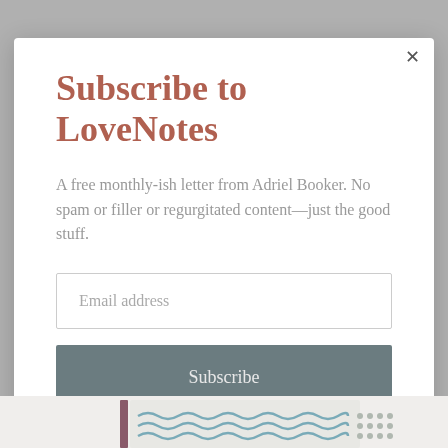Subscribe to LoveNotes
A free monthly-ish letter from Adriel Booker. No spam or filler or regurgitated content—just the good stuff.
Email address
Subscribe
[Figure (illustration): Bottom partial image showing decorative waves pattern and what appears to be a book spine]